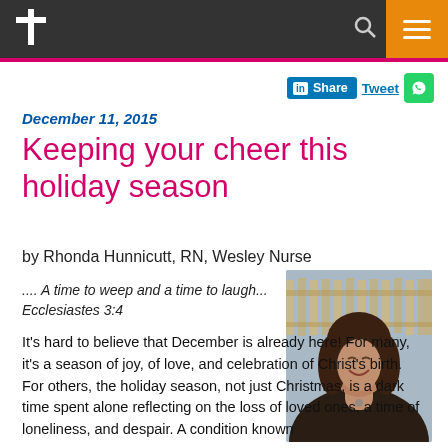United Methodist Church navigation bar with logo, search, and menu
December 11, 2015
Keeping your cheer this holiday season
by Rhonda Hunnicutt, RN, Wesley Nurse
.... A time to weep and a time to laugh... Ecclesiastes 3:4
[Figure (photo): Photo of Rhonda Hunnicutt, a woman with brown hair smiling, with a wooden fence in the background]
It's hard to believe that December is already here! For many, it's a season of joy, of love, and celebration of Christ's birth. For others, the holiday season, not just Christmas, is a dark time spent alone reflecting on the loss of loved ones, a time of loneliness, and despair. A condition known